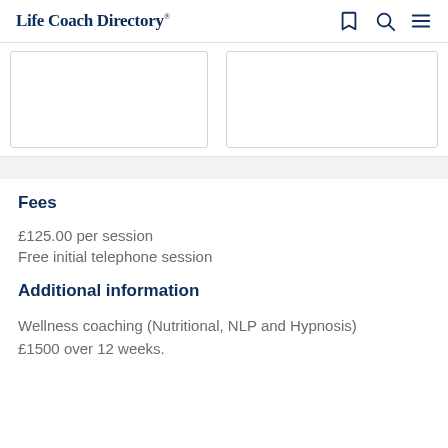Life Coach Directory®
[Figure (other): Two empty card placeholder boxes side by side]
Fees
£125.00 per session
Free initial telephone session
Additional information
Wellness coaching (Nutritional, NLP and Hypnosis) £1500 over 12 weeks.